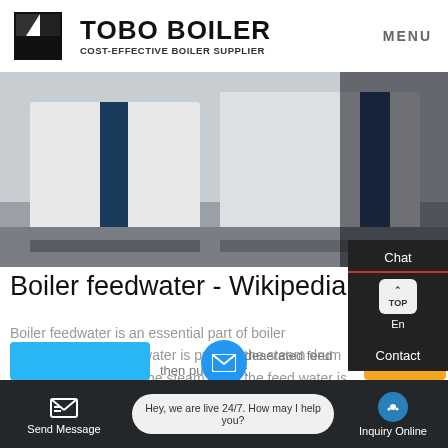[Figure (logo): TOBO BOILER logo with geometric icon and tagline COST-EFFECTIVE BOILER SUPPLIER]
[Figure (photo): Hero image showing industrial boiler equipment, white and navy blue units on concrete floor]
Boiler feedwater - Wikipedia
Boiler feedwater is an essential part of boiler operations. The feed water is put into the steam drum from a feed pump. In the steam drum the feed water is then turned into steam from the heat. After the steam is used it is then dumped to the main condenser. From the condenser it then pumped the deaerated feed tank
Hey, we are live 24/7. How may I help you?
Send Message    Inquiry Online